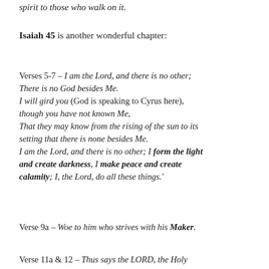spirit to those who walk on it.
Isaiah 45 is another wonderful chapter:
Verses 5-7 – I am the Lord, and there is no other; There is no God besides Me. I will gird you (God is speaking to Cyrus here), though you have not known Me, That they may know from the rising of the sun to its setting that there is none besides Me. I am the Lord, and there is no other; I form the light and create darkness, I make peace and create calamity; I, the Lord, do all these things.'
Verse 9a – Woe to him who strives with his Maker.
Verse 11a & 12 – Thus says the LORD, the Holy